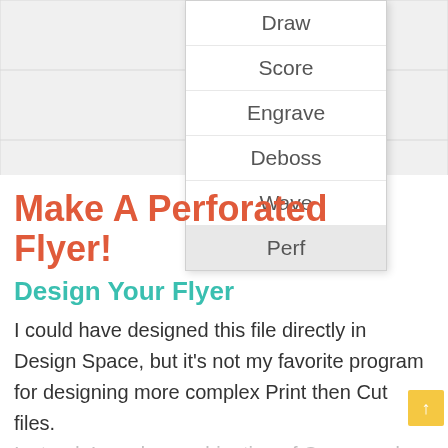[Figure (screenshot): A dropdown menu showing options: Draw, Score, Engrave, Deboss, Wave, Perf (selected/highlighted). The menu appears over a grid background.]
Make A Perforated Flyer!
Design Your Flyer
I could have designed this file directly in Design Space, but it's not my favorite program for designing more complex Print then Cut files.
Instead, I used a combination of Canva and